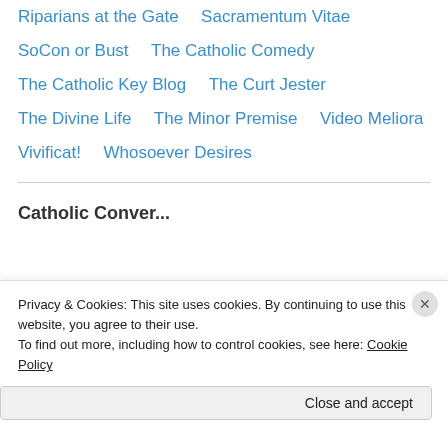Riparians at the Gate
Sacramentum Vitae
SoCon or Bust
The Catholic Comedy
The Catholic Key Blog
The Curt Jester
The Divine Life
The Minor Premise
Video Meliora
Vivificat!
Whosoever Desires
Catholic Conversation
Privacy & Cookies: This site uses cookies. By continuing to use this website, you agree to their use. To find out more, including how to control cookies, see here: Cookie Policy
Close and accept